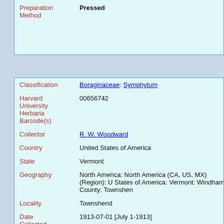| Preparation Method | Pressed |
| Classification | Boraginaceae: Symphytum |
| Harvard University Herbaria Barcode(s) | 00656742 |
| Collector | R. W. Woodward |
| Country | United States of America |
| State | Vermont |
| Geography | North America: North America (CA, US, MX) (Region): United States of America: Vermont: Windham County: Townshend |
| Locality | Townshend |
| Date Collected | 1913-07-01 [July 1-1913] |
| Project | New England Vascular Plants TCN |
| GUID | http://purl.oclc.org/net/edu.harvard.huh/guid/uuid/f0e...7485-423b-9ed3-30e7cc7bc8e6 |
| Harvard | 00656742 |